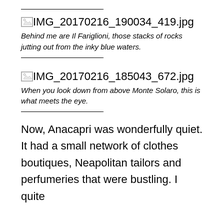[Figure (other): Broken image placeholder for IMG_20170216_190034_419.jpg]
Behind me are Il Fariglioni, those stacks of rocks jutting out from the inky blue waters.
[Figure (other): Broken image placeholder for IMG_20170216_185043_672.jpg]
When you look down from above Monte Solaro, this is what meets the eye.
Now, Anacapri was wonderfully quiet. It had a small network of clothes boutiques, Neapolitan tailors and perfumeries that were bustling. I quite